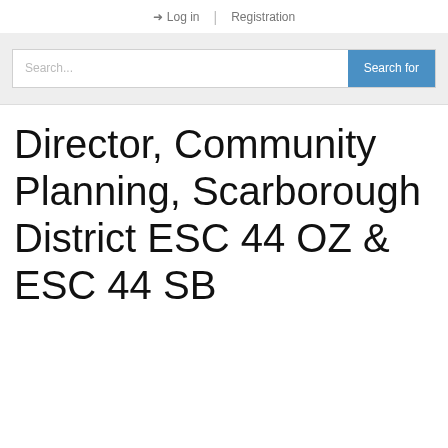Log in | Registration
[Figure (screenshot): Search bar with text input placeholder 'Search...' and a blue 'Search for' button]
Director, Community Planning, Scarborough District ESC 44 OZ & ESC 44 SB